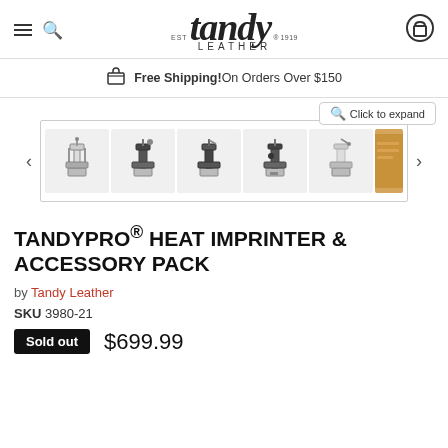Tandy Leather - EST 1919 - Navigation header with search and cart
Free Shipping! On Orders Over $150
[Figure (screenshot): Product image gallery showing 5 thumbnails of TandyPro Heat Imprinter machine from various angles, with Click to expand button and navigation arrows]
TANDYPRO® HEAT IMPRINTER & ACCESSORY PACK
by Tandy Leather
SKU 3980-21
Sold out $699.99